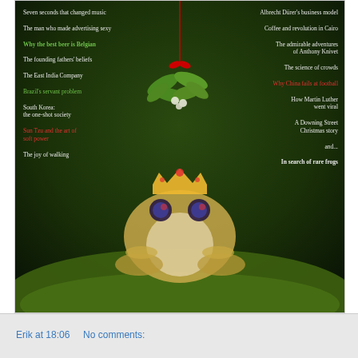[Figure (photo): Magazine cover showing a frog wearing a crown sitting on moss, with mistletoe hanging from the top center. Left and right columns list article titles in white, green, and red text on a dark green background.]
Seven seconds that changed music
The man who made advertising sexy
Why the best beer is Belgian
The founding fathers' beliefs
The East India Company
Brazil's servant problem
South Korea: the one-shot society
Sun Tzu and the art of soft power
The joy of walking
Albrecht Dürer's business model
Coffee and revolution in Cairo
The admirable adventures of Anthony Knivet
The science of crowds
Why China fails at football
How Martin Luther went viral
A Downing Street Christmas story
and...
In search of rare frogs
Erik at 18:06     No comments: